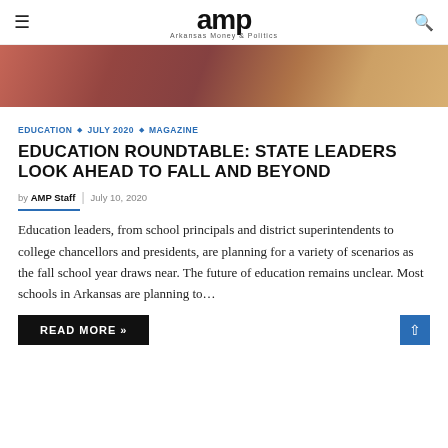amp — Arkansas Money & Politics
[Figure (photo): Close-up photo of a child writing with a pencil on paper, blurred background.]
EDUCATION ◇ JULY 2020 ◇ MAGAZINE
EDUCATION ROUNDTABLE: STATE LEADERS LOOK AHEAD TO FALL AND BEYOND
by AMP Staff | July 10, 2020
Education leaders, from school principals and district superintendents to college chancellors and presidents, are planning for a variety of scenarios as the fall school year draws near. The future of education remains unclear. Most schools in Arkansas are planning to…
READ MORE »